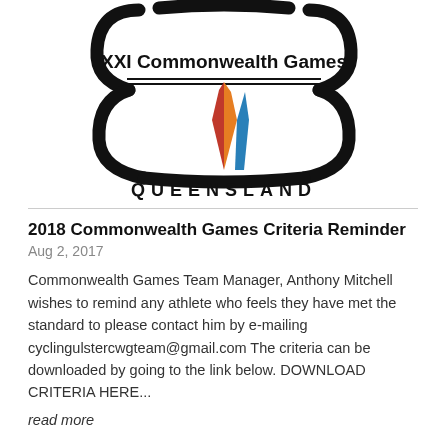[Figure (logo): XXI Commonwealth Games Queensland logo with colored flame/torch design and decorative arc elements]
2018 Commonwealth Games Criteria Reminder
Aug 2, 2017
Commonwealth Games Team Manager, Anthony Mitchell wishes to remind any athlete who feels they have met the standard to please contact him by e-mailing cyclingulstercwgteam@gmail.com The criteria can be downloaded by going to the link below. DOWNLOAD CRITERIA HERE...
read more